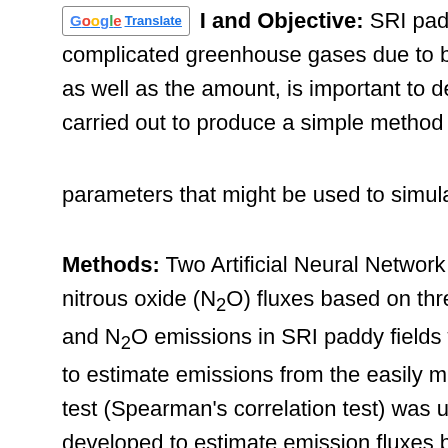I and Objective: SRI paddy field oc complicated greenhouse gases due to biophysi as well as the amount, is important to determin carried out to produce a simple method to estin parameters that might be used to simulate t Methods: Two Artificial Neural Network (ANN) n nitrous oxide (N₂O) fluxes based on three sele and N₂O emissions in SRI paddy fields were pre to estimate emissions from the easily measured test (Spearman's correlation test) was used to developed to estimate emission fluxes based o air temperature that could produce R² 0.96 and the SRI paddy field increased with air temperat